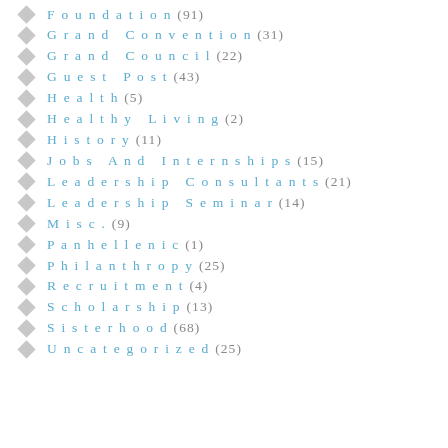Foundation (91)
Grand Convention (31)
Grand Council (22)
Guest Post (43)
Health (5)
Healthy Living (2)
History (11)
Jobs And Internships (15)
Leadership Consultants (21)
Leadership Seminar (14)
Misc. (9)
Panhellenic (1)
Philanthropy (25)
Recruitment (4)
Scholarship (13)
Sisterhood (68)
Uncategorized (25)